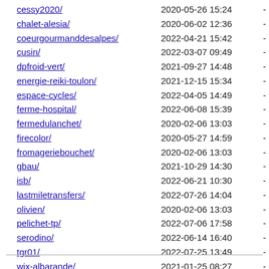cessy2020/  2020-05-26 15:24  -
chalet-alesia/  2020-06-02 12:36  -
coeurgourmanddesalpes/  2022-04-21 15:42  -
cusin/  2022-03-07 09:49  -
dpfroid-vert/  2021-09-27 14:48  -
energie-reiki-toulon/  2021-12-15 15:34  -
espace-cycles/  2022-04-05 14:49  -
ferme-hospital/  2022-06-08 15:39  -
fermedulanchet/  2020-02-06 13:03  -
firecolor/  2020-05-27 14:59  -
fromageriebouchet/  2020-02-06 13:03  -
gbau/  2021-10-29 14:30  -
isb/  2022-06-21 10:30  -
lastmiletransfers/  2022-07-26 14:04  -
olivien/  2020-02-06 13:03  -
pelichet-tp/  2022-07-06 17:58  -
serodino/  2022-06-14 16:40  -
tgr01/  2022-07-25 13:49  -
wix-albarande/  2021-01-25 08:27  -